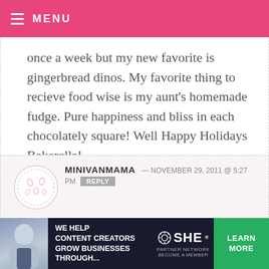MENU
once a week but my new favorite is gingerbread dinos. My favorite thing to recieve food wise is my aunt's homemade fudge. Pure happiness and bliss in each chocolately square! Well Happy Holidays Bakerella!
MINIVANMAMA — NOVEMBER 29, 2011 @ 5:27 PM REPLY
Your designs are beautiful! The photos and step-by-step instructions (and